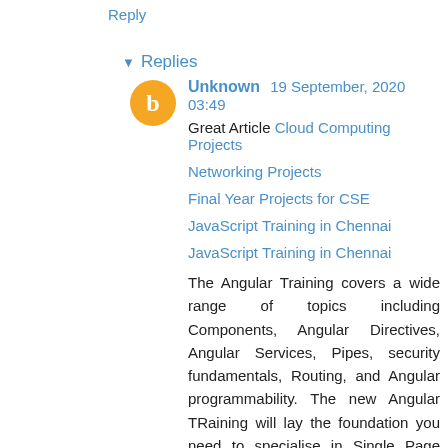Reply
▾ Replies
Unknown  19 September, 2020 03:49
Great Article Cloud Computing Projects
Networking Projects
Final Year Projects for CSE
JavaScript Training in Chennai
JavaScript Training in Chennai
The Angular Training covers a wide range of topics including Components, Angular Directives, Angular Services, Pipes, security fundamentals, Routing, and Angular programmability. The new Angular TRaining will lay the foundation you need to specialise in Single Page Application developer. Angular Training